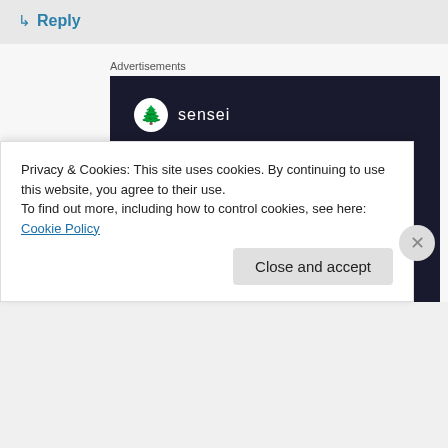↳ Reply
Advertisements
[Figure (illustration): Sensei advertisement banner with dark background. Shows Sensei logo (tree icon in circle) and text 'Launch your online course with WordPress' in teal color, with a 'Learn More' teal button.]
Privacy & Cookies: This site uses cookies. By continuing to use this website, you agree to their use.
To find out more, including how to control cookies, see here: Cookie Policy
Close and accept